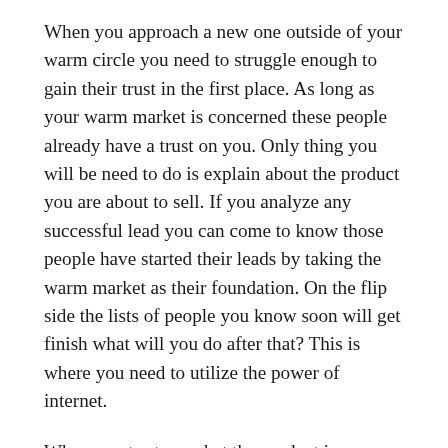When you approach a new one outside of your warm circle you need to struggle enough to gain their trust in the first place. As long as your warm market is concerned these people already have a trust on you. Only thing you will be need to do is explain about the product you are about to sell. If you analyze any successful lead you can come to know those people have started their leads by taking the warm market as their foundation. On the flip side the lists of people you know soon will get finish what will you do after that? This is where you need to utilize the power of internet.
When you try to market the product in your warm market you should be very careful. If they don’t like the product they will be pulled to the awkward situation where they can’t say no boldly. Approach those people and don’t force them to buy your product. If you find they hesitate to buy the product